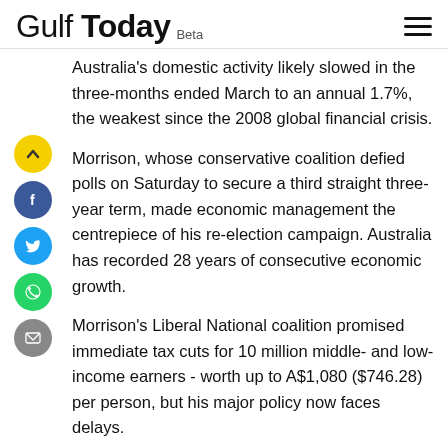Gulf Today Beta
Australia's domestic activity likely slowed in the three-months ended March to an annual 1.7%, the weakest since the 2008 global financial crisis.
Morrison, whose conservative coalition defied polls on Saturday to secure a third straight three-year term, made economic management the centrepiece of his re-election campaign. Australia has recorded 28 years of consecutive economic growth.
Morrison's Liberal National coalition promised immediate tax cuts for 10 million middle- and low-income earners - worth up to A$1,080 ($746.28) per person, but his major policy now faces delays.